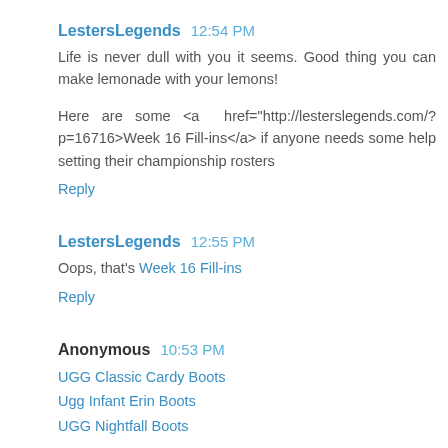LestersLegends  12:54 PM
Life is never dull with you it seems. Good thing you can make lemonade with your lemons!
Here are some <a href="http://lesterslegends.com/?p=16716>Week 16 Fill-ins</a> if anyone needs some help setting their championship rosters
Reply
LestersLegends  12:55 PM
Oops, that's Week 16 Fill-ins
Reply
Anonymous  10:53 PM
UGG Classic Cardy Boots
Ugg Infant Erin Boots
UGG Nightfall Boots